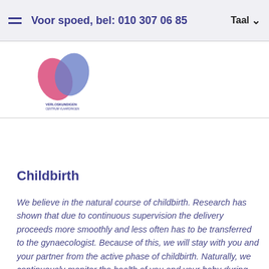Voor spoed, bel: 010 307 06 85  Taal
[Figure (logo): Medical clinic logo with pink and blue bird/teardrop shapes and small text below]
Childbirth
We believe in the natural course of childbirth. Research has shown that due to continuous supervision the delivery proceeds more smoothly and less often has to be transferred to the gynaecologist. Because of this, we will stay with you and your partner from the active phase of childbirth. Naturally, we continuously monitor the health of you and your baby during